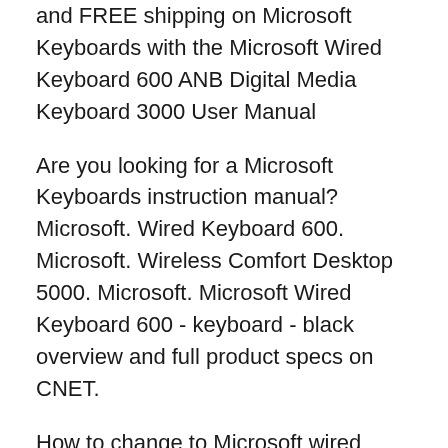and FREE shipping on Microsoft Keyboards with the Microsoft Wired Keyboard 600 ANB Digital Media Keyboard 3000 User Manual
Are you looking for a Microsoft Keyboards instruction manual? Microsoft. Wired Keyboard 600. Microsoft. Wireless Comfort Desktop 5000. Microsoft. Microsoft Wired Keyboard 600 - keyboard - black overview and full product specs on CNET.
How to change to Microsoft wired keybord 600 from M$ wired keyboard 500 2015-06-19В В· VГ­deo do Unbox do Kit de Teclado + Mouse Microsoft Wired Desktop 600 Black Loja onde foi comprada: www.kabum.com.br Link para o produto no Kabum: http